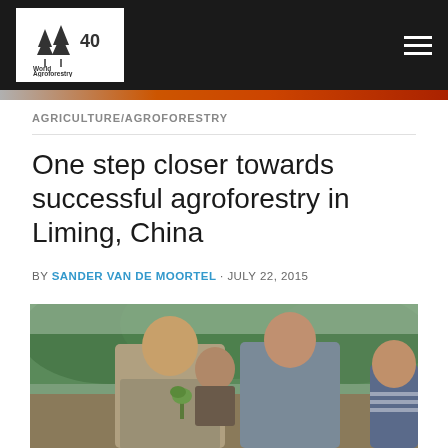World Agroforestry (logo and navigation bar)
AGRICULTURE/AGROFORESTRY
One step closer towards successful agroforestry in Liming, China
BY SANDER VAN DE MOORTEL · JULY 22, 2015
[Figure (photo): Group of people outdoors on a hillside with forested mountains in the background. A man in a jacket holds a small seedling plant while speaking with others including a man in a grey shirt and a woman with glasses.]